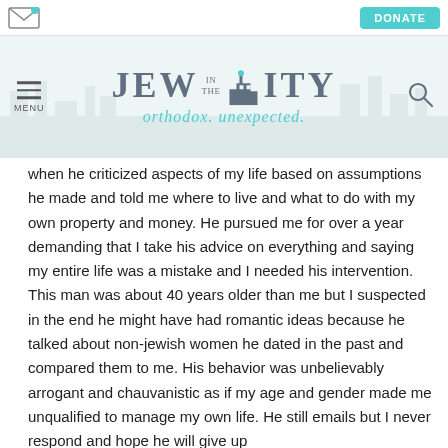[Figure (logo): Jew in the City logo with tagline 'orthodox. unexpected.' on a light teal/grey background header]
when he criticized aspects of my life based on assumptions he made and told me where to live and what to do with my own property and money. He pursued me for over a year demanding that I take his advice on everything and saying my entire life was a mistake and I needed his intervention. This man was about 40 years older than me but I suspected in the end he might have had romantic ideas because he talked about non-jewish women he dated in the past and compared them to me. His behavior was unbelievably arrogant and chauvanistic as if my age and gender made me unqualified to manage my own life. He still emails but I never respond and hope he will give up